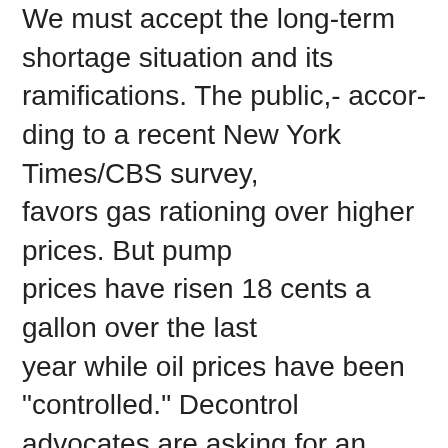We must accept the long-term shortage situation and its ramifications. The public,- accor- ding to a recent New York Times/CBS survey, favors gas rationing over higher prices. But pump prices have risen 18 cents a gallon over the last year while oil prices have been "controlled." Decontrol advocates are asking for an additional 2-4 cent per gallon price increase. Decontrolling oil prices may reduce tem